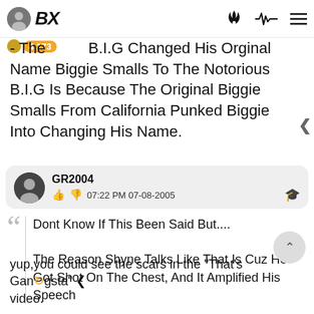BX
- The 4,173 B.I.G Changed His Orginal Name Biggie Smalls To The Notorious B.I.G Is Because The Original Biggie Smalls From California Punked Biggie Into Changing His Name.
GR2004
07:22 PM 07-08-2005
Dont Know If This Been Said But....

The Reason Shyne Talks Like That Is Cuz He Got Shot On The Chest, And It Amplified His Speech
yup,you could see the scars in the "That's Gangsta" video.